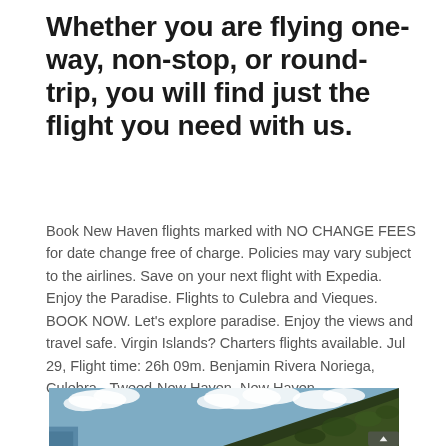Whether you are flying one-way, non-stop, or round-trip, you will find just the flight you need with us.
Book New Haven flights marked with NO CHANGE FEES for date change free of charge. Policies may vary subject to the airlines. Save on your next flight with Expedia. Enjoy the Paradise. Flights to Culebra and Vieques. BOOK NOW. Let's explore paradise. Enjoy the views and travel safe. Virgin Islands? Charters flights available. Jul 29, Flight time: 26h 09m. Benjamin Rivera Noriega, Culebra - Tweed-New Haven, New Haven.
[Figure (photo): Landscape photo showing a green hillside with lush vegetation on the right side, a blue sky with white clouds on the upper left, and a glimpse of water on the far left. The scene suggests a tropical island setting, likely Culebra or Vieques.]